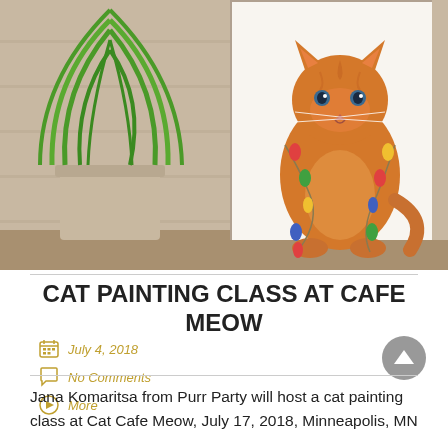[Figure (photo): Two-panel image: left panel shows a green potted plant (grass-like leaves) against a wood-plank wall background; right panel shows a watercolor painting of an orange tabby cat sitting upright, wearing colorful Christmas light garlands around its neck, on a white background, with a wood floor visible at the edges.]
CAT PAINTING CLASS AT CAFE MEOW
July 4, 2018
No Comments
More
Jana Komaritsa from Purr Party will host a cat painting class at Cat Cafe Meow, July 17, 2018, Minneapolis, MN